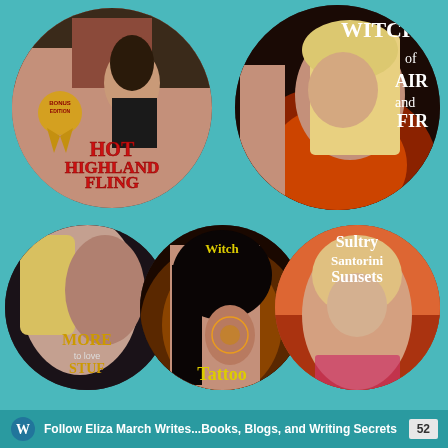[Figure (illustration): Five circular book cover images arranged on a teal background. Top left: 'Hot Highland Fling' bonus edition romance cover. Top right: 'Witch of Air and Fire' cover. Bottom left: 'More to Stuff' cover. Bottom middle: 'Witch Tattoo' cover. Bottom right: 'Sultry Santorini Sunsets' cover.]
Follow Eliza March Writes...Books, Blogs, and Writing Secrets  52